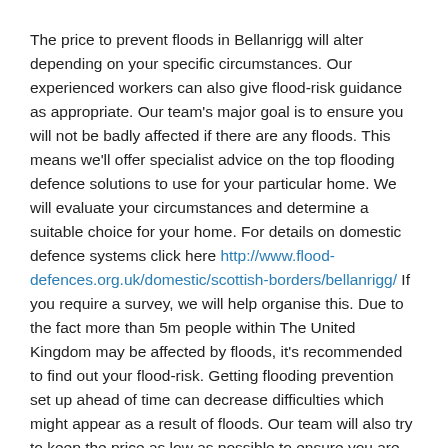The price to prevent floods in Bellanrigg will alter depending on your specific circumstances. Our experienced workers can also give flood-risk guidance as appropriate. Our team's major goal is to ensure you will not be badly affected if there are any floods. This means we'll offer specialist advice on the top flooding defence solutions to use for your particular home. We will evaluate your circumstances and determine a suitable choice for your home. For details on domestic defence systems click here http://www.flood-defences.org.uk/domestic/scottish-borders/bellanrigg/ If you require a survey, we will help organise this. Due to the fact more than 5m people within The United Kingdom may be affected by floods, it's recommended to find out your flood-risk. Getting flooding prevention set up ahead of time can decrease difficulties which might appear as a result of floods. Our team will also try to keep the price as low as possible to ensure you are not spending money that is not necessary. Although our costs may not be the cheapest, we do offer the best services.
Something else you might need to take into consideration when thinking about flood defence costs is sewerage defence, which we